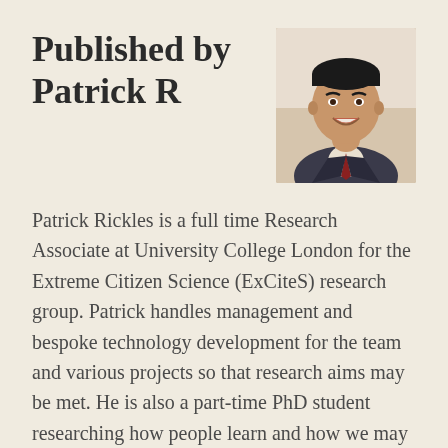Published by Patrick R
[Figure (photo): Headshot photo of Patrick Rickles, a young man smiling, wearing a suit jacket, with a light background.]
Patrick Rickles is a full time Research Associate at University College London for the Extreme Citizen Science (ExCiteS) research group. Patrick handles management and bespoke technology development for the team and various projects so that research aims may be met. He is also a part-time PhD student researching how people learn and how we may better teach Geographic Information